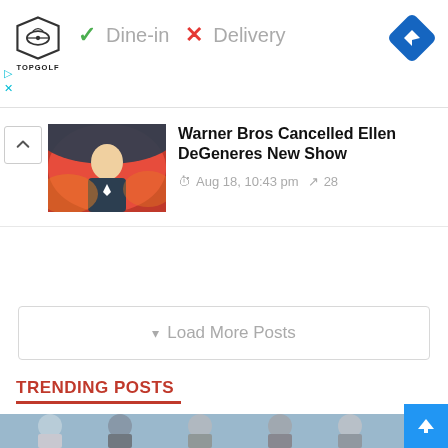[Figure (screenshot): Topgolf advertisement banner with logo, Dine-in checkmark and Delivery X options, blue navigation diamond icon]
Warner Bros Cancelled Ellen DeGeneres New Show
Aug 18, 10:43 pm  28
Load More Posts
TRENDING POSTS
[Figure (photo): Partial view of TV show cast members at bottom of page]